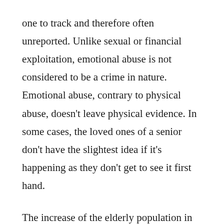one to track and therefore often unreported. Unlike sexual or financial exploitation, emotional abuse is not considered to be a crime in nature. Emotional abuse, contrary to physical abuse, doesn't leave physical evidence. In some cases, the loved ones of a senior don't have the slightest idea if it's happening as they don't get to see it first hand.
The increase of the elderly population in the United States goes hand in hand with abuse, which continues to cause a lifetime of mental health issues and trauma for older citizens. A major issue with this growing problem is the fact that many seniors are embarrassed or afraid to say anything about their abuse, fearing it